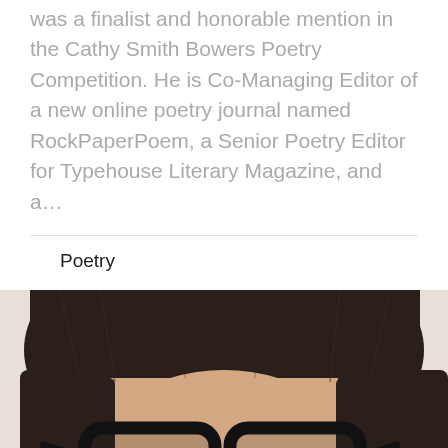was a finalist and honorable mention in the Cathy Smith Bowers Poetry Competition. He is Co-Managing Editor of a new online poetry journal named RockPaperPoem, a Senior Poetry Editor for Typehouse Literary Magazine, and a...
Poetry
[Figure (photo): Close-up photo of a person with a dark bob haircut and large black-framed glasses, face slightly tilted, looking toward camera.]